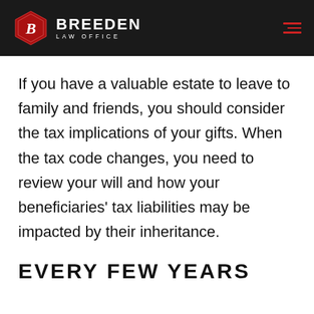BREEDEN LAW OFFICE
If you have a valuable estate to leave to family and friends, you should consider the tax implications of your gifts. When the tax code changes, you need to review your will and how your beneficiaries' tax liabilities may be impacted by their inheritance.
EVERY FEW YEARS